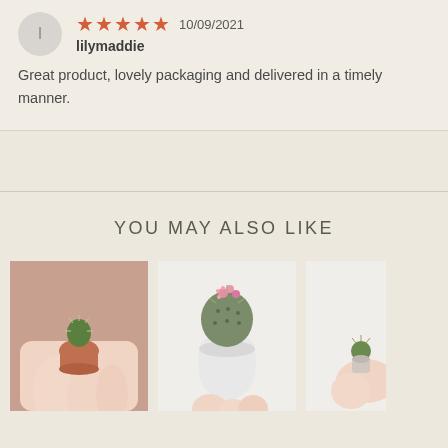l
★★★★★ 10/09/2021
lilymaddie
Great product, lovely packaging and delivered in a timely manner.
YOU MAY ALSO LIKE
[Figure (photo): Hand holding a tiny cactus in a small terracotta-colored pot against a pink background]
[Figure (photo): Hand holding a round cactus with pink flower in a white ceramic pot against white background]
[Figure (photo): Partial view of hand holding a small plant, cropped at the right edge]